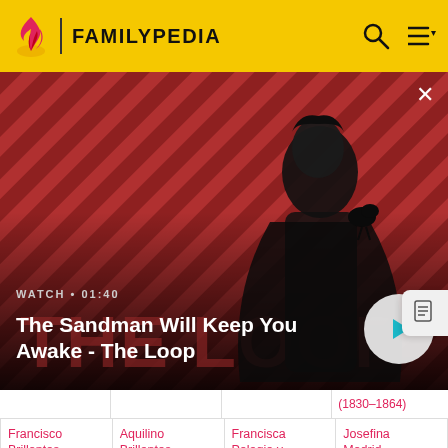FAMILYPEDIA
[Figure (screenshot): Video thumbnail for 'The Sandman Will Keep You Awake - The Loop' with a dark figure and a crow on a red striped background. Shows WATCH • 01:40 label and a play button.]
|  |  |  | (1830-1864) |
| Francisco Brillantes (1892-1981) | Aquilino Brillantes | Francisca Pelagio y Villaruel | Josefina Madrid (1902-1976) |
| Antje Broersen | Simon Broersen | Trijntje Wertelaer | Klaas Jonker |